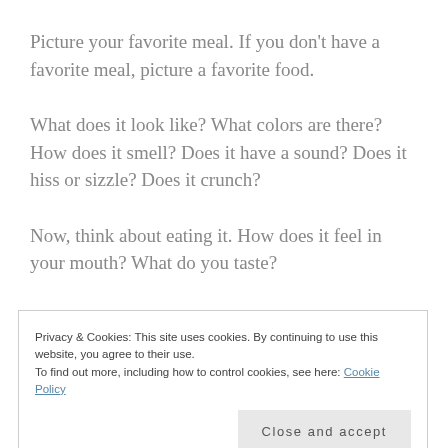Picture your favorite meal. If you don't have a favorite meal, picture a favorite food.
What does it look like? What colors are there? How does it smell? Does it have a sound? Does it hiss or sizzle? Does it crunch?
Now, think about eating it. How does it feel in your mouth? What do you taste?
Get in there and give it space in your mind. Instead of
Privacy & Cookies: This site uses cookies. By continuing to use this website, you agree to their use.
To find out more, including how to control cookies, see here: Cookie Policy
your mouth when you bite down. Are there warm parts